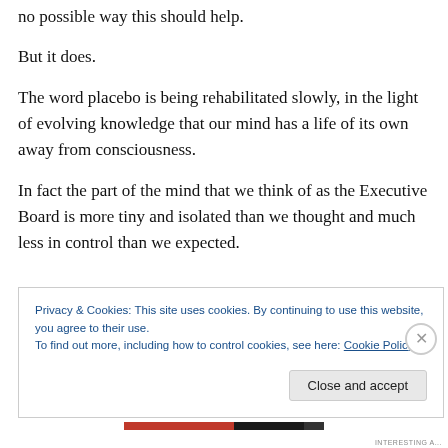no possible way this should help.
But it does.
The word placebo is being rehabilitated slowly, in the light of evolving knowledge that our mind has a life of its own away from consciousness.
In fact the part of the mind that we think of as the Executive Board is more tiny and isolated than we thought and much less in control than we expected.
Privacy & Cookies: This site uses cookies. By continuing to use this website, you agree to their use.
To find out more, including how to control cookies, see here: Cookie Policy
Close and accept
INTERESTING A...